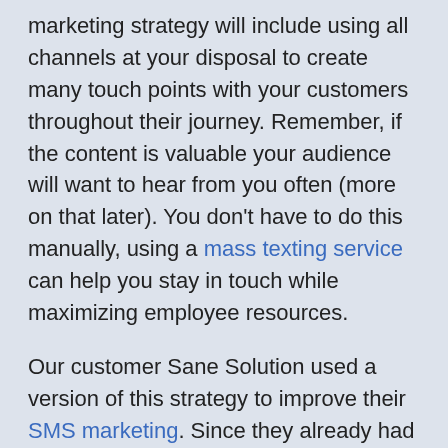marketing strategy will include using all channels at your disposal to create many touch points with your customers throughout their journey. Remember, if the content is valuable your audience will want to hear from you often (more on that later). You don't have to do this manually, using a mass texting service can help you stay in touch while maximizing employee resources.
Our customer Sane Solution used a version of this strategy to improve their SMS marketing. Since they already had an incredibly responsive email campaign strategy, they chose the highest performing emails to reuse as text messages. They found that it was even possible to send the same person an email and a text message with similar content if that customer had meaningfully engaged